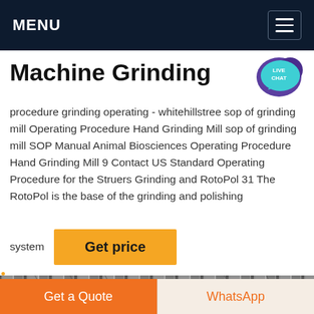MENU
Machine Grinding
procedure grinding operating - whitehillstree sop of grinding mill Operating Procedure Hand Grinding Mill sop of grinding mill SOP Manual Animal Biosciences Operating Procedure Hand Grinding Mill 9 Contact US Standard Operating Procedure for the Struers Grinding and RotoPol 31 The RotoPol is the base of the grinding and polishing system
[Figure (other): Get price button - orange/yellow rectangular button with bold text]
[Figure (photo): Industrial/structural image strip showing metal framework]
Get a Quote
WhatsApp